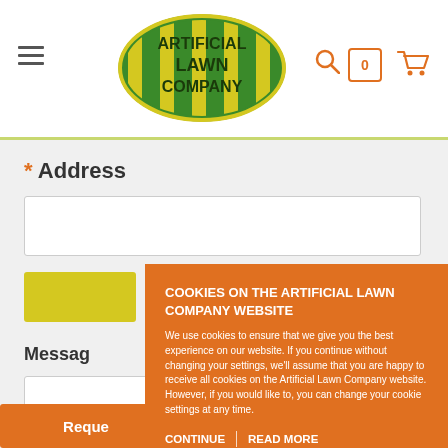[Figure (logo): Artificial Lawn Company oval logo with green and yellow stripes and dark text]
* Address
[Figure (screenshot): Address input text field (empty)]
Messag
[Figure (screenshot): Message text area field (empty)]
Reque
COOKIES ON THE ARTIFICIAL LAWN COMPANY WEBSITE
We use cookies to ensure that we give you the best experience on our website. If you continue without changing your settings, we'll assume that you are happy to receive all cookies on the Artificial Lawn Company website. However, if you would like to, you can change your cookie settings at any time.
CONTINUE | READ MORE